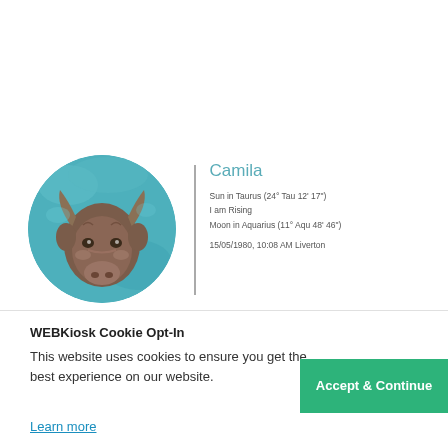[Figure (illustration): Circular painted illustration of a bull/cow portrait with teal/turquoise background, painterly style]
Camila
Sun in Taurus (24° Tau 12' 17")
I am Rising
Moon in Aquarius (11° Aqu 48' 46")

15/05/1980, 10:08 AM Liverton
WEBKiosk Cookie Opt-In
This website uses cookies to ensure you get the best experience on our website.
Learn more
Accept & Continue